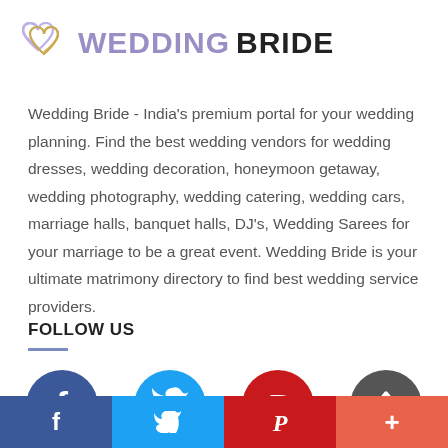[Figure (logo): Wedding Bride logo with two overlapping hearts in purple/yellow and text WEDDING BRIDE]
Wedding Bride - India's premium portal for your wedding planning. Find the best wedding vendors for wedding dresses, wedding decoration, honeymoon getaway, wedding photography, wedding catering, wedding cars, marriage halls, banquet halls, DJ's, Wedding Sarees for your marriage to be a great event. Wedding Bride is your ultimate matrimony directory to find best wedding service providers.
FOLLOW US
[Figure (illustration): Row of social media icons: Facebook (blue circle with f), Twitter (light blue circle with bird), Pinterest (red circle with P), and a dark grey circle with up-arrow caret]
[Figure (infographic): Bottom bar with four colored sections: dark blue (Facebook f icon), light blue (Twitter bird icon), red (Pinterest P icon), orange-red (plus icon)]